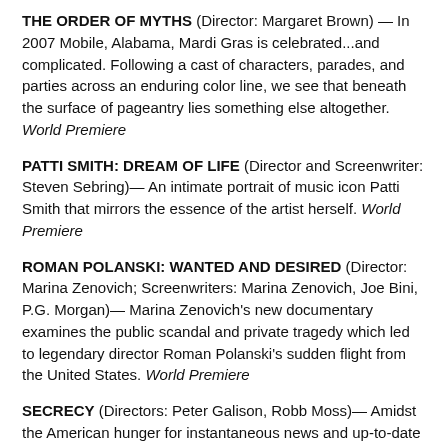THE ORDER OF MYTHS (Director: Margaret Brown) — In 2007 Mobile, Alabama, Mardi Gras is celebrated...and complicated. Following a cast of characters, parades, and parties across an enduring color line, we see that beneath the surface of pageantry lies something else altogether. World Premiere
PATTI SMITH: DREAM OF LIFE (Director and Screenwriter: Steven Sebring)— An intimate portrait of music icon Patti Smith that mirrors the essence of the artist herself. World Premiere
ROMAN POLANSKI: WANTED AND DESIRED (Director: Marina Zenovich; Screenwriters: Marina Zenovich, Joe Bini, P.G. Morgan)— Marina Zenovich's new documentary examines the public scandal and private tragedy which led to legendary director Roman Polanski's sudden flight from the United States. World Premiere
SECRECY (Directors: Peter Galison, Robb Moss)— Amidst the American hunger for instantaneous news and up-to-date "facts," this unflinching film uncovers the vast, invisible world of government secrecy. World Premiere
SLINGSHOT HIP HOP (Director: Jackie Reem Salloum)—The voice of a new generation rocks and rhymes as Palestinian rappers form alternative voices of resistance within the